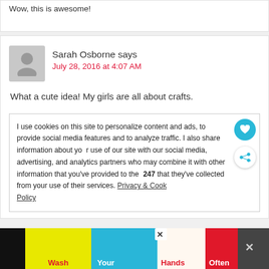Wow, this is awesome!
Sarah Osborne says
July 28, 2016 at 4:07 AM
What a cute idea! My girls are all about crafts.
I use cookies on this site to personalize content and ads, to provide social media features and to analyze traffic. I also share information about your use of our site with our social media, advertising, and analytics partners who may combine it with other information that you've provided to the that they've collected from your use of their services. Privacy & Cookie Policy
[Figure (infographic): Wash Your Hands Often advertisement banner with colorful hand icons]